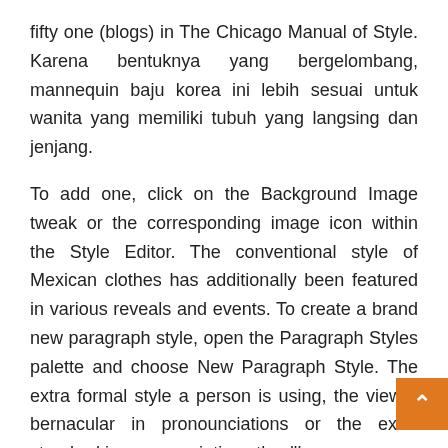fifty one (blogs) in The Chicago Manual of Style. Karena bentuknya yang bergelombang, mannequin baju korea ini lebih sesuai untuk wanita yang memiliki tubuh yang langsing dan jenjang.
To add one, click on the Background Image tweak or the corresponding image icon within the Style Editor. The conventional style of Mexican clothes has additionally been featured in various reveals and events. To create a brand new paragraph style, open the Paragraph Styles palette and choose New Paragraph Style. The extra formal style a person is using, the viewer bernacular in pronounciations or the extra standard iŋ pronounciations they'll use.
http://wuafterdark.com/wp-content/languages/new/professional-resume-writing-service-reviews.html